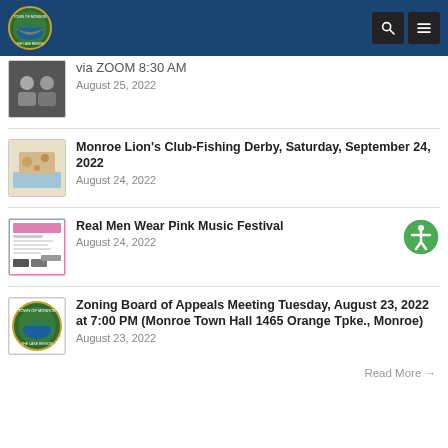Town of Monroe
via ZOOM 8:30 AM
August 25, 2022
Monroe Lion's Club-Fishing Derby, Saturday, September 24, 2022
August 24, 2022
Real Men Wear Pink Music Festival
August 24, 2022
Zoning Board of Appeals Meeting Tuesday, August 23, 2022 at 7:00 PM (Monroe Town Hall 1465 Orange Tpke., Monroe)
August 23, 2022
Read More →